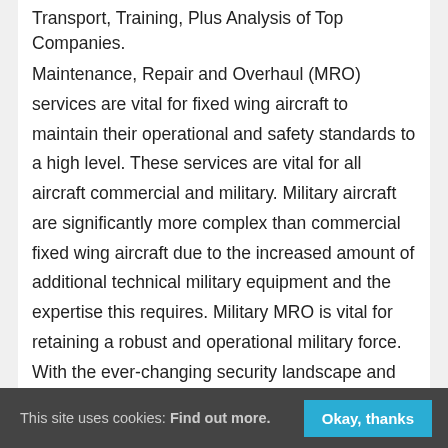Transport, Training, Plus Analysis of Top Companies.
Maintenance, Repair and Overhaul (MRO) services are vital for fixed wing aircraft to maintain their operational and safety standards to a high level. These services are vital for all aircraft commercial and military. Military aircraft are significantly more complex than commercial fixed wing aircraft due to the increased amount of additional technical military equipment and the expertise this requires. Military MRO is vital for retaining a robust and operational military force. With the ever-changing security landscape and continuous upgrade and procurement of new military aircraft, MRO is a constantly evolving and increasing market.
This site uses cookies: Find out more. Okay, thanks